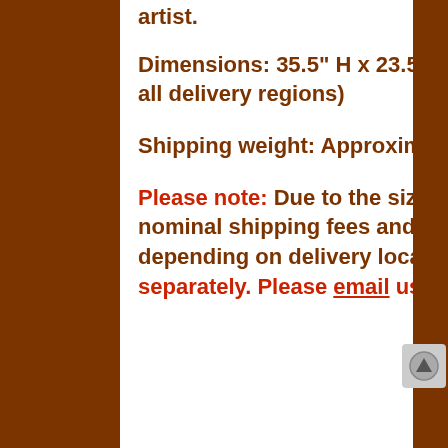artist.
Dimensions: 35.5" H x 23.5" W x 1.125" D (over-sized rates will apply to all delivery regions)
Shipping weight: Approximately 6 lbs.
Please note: Due to the size and/or weight of this item, additional nominal shipping fees and/or separate shipping may be required depending on delivery location. Additional shipping costs will be billed separately. Please email us for